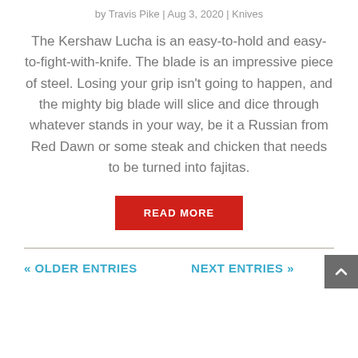by Travis Pike | Aug 3, 2020 | Knives
The Kershaw Lucha is an easy-to-hold and easy-to-fight-with-knife. The blade is an impressive piece of steel. Losing your grip isn't going to happen, and the mighty big blade will slice and dice through whatever stands in your way, be it a Russian from Red Dawn or some steak and chicken that needs to be turned into fajitas.
READ MORE
« OLDER ENTRIES
NEXT ENTRIES »